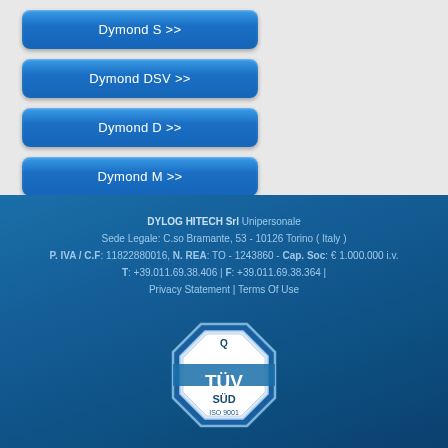Dymond S >>
Dymond DSV >>
Dymond D >>
Dymond M >>
DYLOG HITECH Srl Unipersonale
Sede Legale: C.so Bramante, 53 - 10126 Torino ( Italy )
P. IVA / C.F: 11822880016, N. REA: TO - 1243860 - Cap. Soc: € 1.000.000 i.v.
T: +39.011.69.38.406 | F: +39.011.69.38.364 |
Privacy Statement | Terms Of Use
[Figure (logo): TÜV SÜD ISO 9001 certification badge, octagonal shape with blue border]